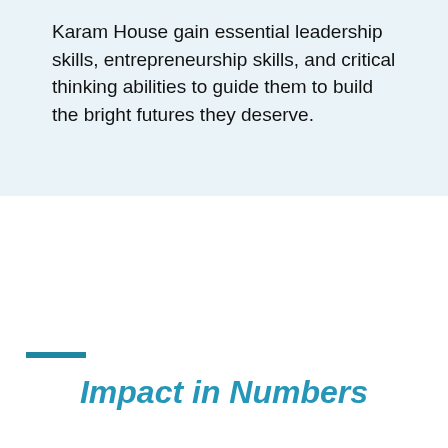Karam House gain essential leadership skills, entrepreneurship skills, and critical thinking abilities to guide them to build the bright futures they deserve.
Impact in Numbers